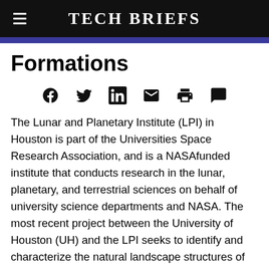Tech Briefs
Formations
[Figure (other): Row of social media sharing icons: Facebook, Twitter, LinkedIn, Email, Print, Comment]
The Lunar and Planetary Institute (LPI) in Houston is part of the Universities Space Research Association, and is a NASAfunded institute that conducts research in the lunar, planetary, and terrestrial sciences on behalf of university science departments and NASA. The most recent project between the University of Houston (UH) and the LPI seeks to identify and characterize the natural landscape structures of Mars, such as the inside of craters, valley networks, and the outside and inside rims of craters and inter-crater plains. Identifying these structures is important because rocks, minerals, and geologic landforms hold clues to past water activity on Mars. Understanding the history of water